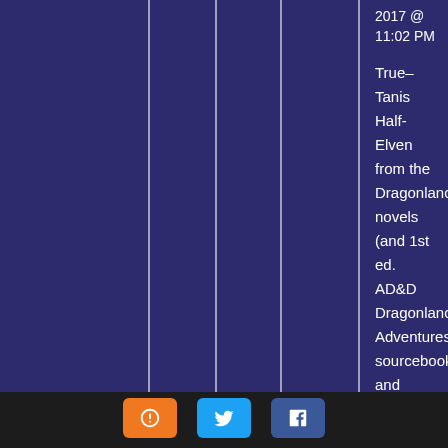2017 @ 11:02 PM
True–Tanis Half-Elven from the Dragonlance novels (and 1st ed. AD&D Dragonlance Adventures sourcebook and modules) comes to mind here.
Leave a Reply to ⊗ LordViking ⊗ Cancel reply
Enter your comment here...
This site uses Akismet to reduce spam. Learn how your comment data is processed.